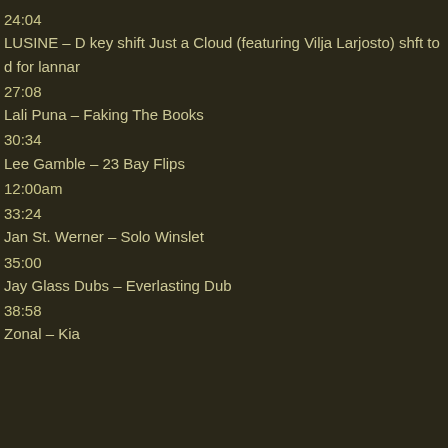24:04
LUSINE – D key shift Just a Cloud (featuring Vilja Larjosto) shft to d for lannar
27:08
Lali Puna – Faking The Books
30:34
Lee Gamble – 23 Bay Flips
12:00am
33:24
Jan St. Werner – Solo Winslet
35:00
Jay Glass Dubs – Everlasting Dub
38:58
Zonal – Kia